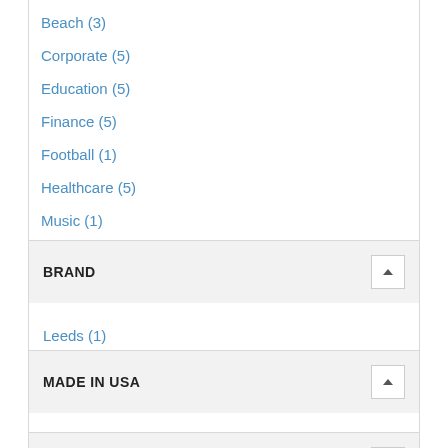Beach (3)
Corporate (5)
Education (5)
Finance (5)
Football (1)
Healthcare (5)
Music (1)
Sports (1)
BRAND
Leeds (1)
MADE IN USA
Made in USA
RUSH SERVICE